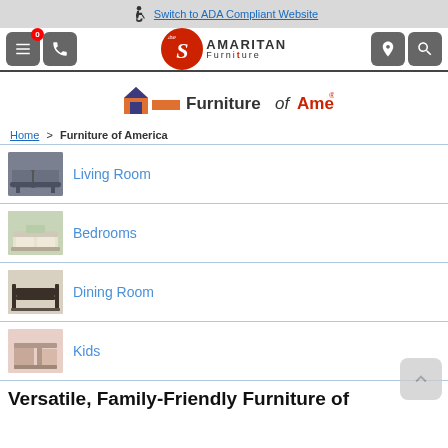Switch to ADA Compliant Website
[Figure (logo): Samaritan Furniture logo with hamburger menu, phone icon, location and search icons in nav bar]
[Figure (logo): Furniture of America brand logo with house icon]
Home > Furniture of America
Living Room
Bedrooms
Dining Room
Kids
Versatile, Family-Friendly Furniture of